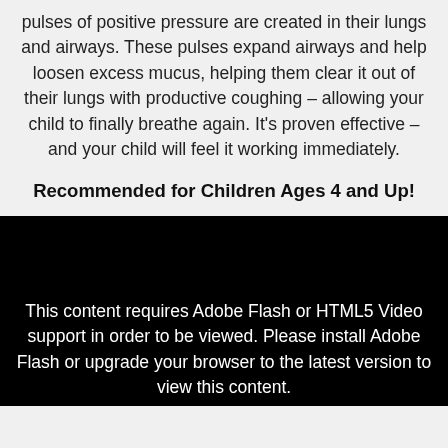pulses of positive pressure are created in their lungs and airways. These pulses expand airways and help loosen excess mucus, helping them clear it out of their lungs with productive coughing – allowing your child to finally breathe again. It's proven effective – and your child will feel it working immediately.
Recommended for Children Ages 4 and Up!
[Figure (screenshot): Black video player area with a message indicating Adobe Flash or HTML5 Video support is required to view the content. Text reads: This content requires Adobe Flash or HTML5 Video support in order to be viewed. Please install Adobe Flash or upgrade your browser to the latest version to view this content.]